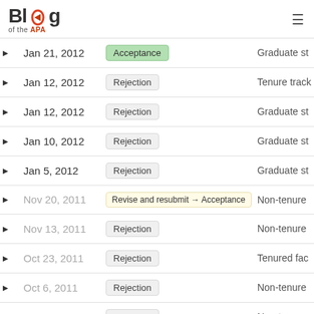Blog of the APA
|  | Date | Status | Role |
| --- | --- | --- | --- |
| ▶ | Jan 21, 2012 | Acceptance | Graduate st |
| ▶ | Jan 12, 2012 | Rejection | Tenure track |
| ▶ | Jan 12, 2012 | Rejection | Graduate st |
| ▶ | Jan 10, 2012 | Rejection | Graduate st |
| ▶ | Jan 5, 2012 | Rejection | Graduate st |
| ▶ | Nov 20, 2011 | Revise and resubmit → Acceptance | Non-tenure |
| ▶ | Nov 13, 2011 | Rejection | Non-tenure |
| ▶ | Oct 23, 2011 | Rejection | Tenured fac |
| ▶ | Oct 6, 2011 | Rejection | Non-tenure |
| ▶ | Sep 28, 2011 | Rejection | Non-tenure |
| ▶ | Sep 28, 2011 | Rejection | Non-tenure |